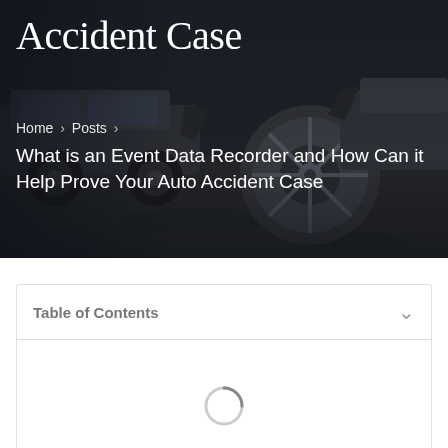Accident Case
Home > Posts >
What is an Event Data Recorder and How Can it Help Prove Your Auto Accident Case
Table of Contents
[Figure (other): Loading spinner / circular progress indicator inside Table of Contents box]